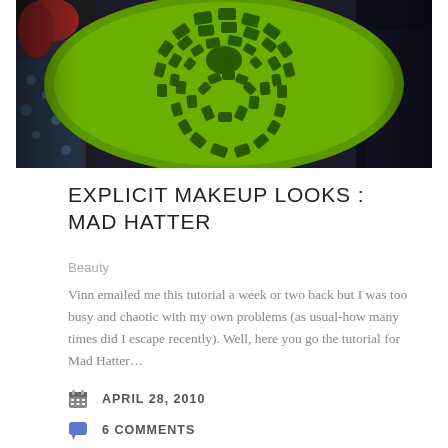[Figure (photo): Photo of two people with a large green hat featuring a circular spiral mosaic pattern — Mad Hatter themed image]
EXPLICIT MAKEUP LOOKS : MAD HATTER
Beauty
Vinn emailed me this tutorial a week or two back but I was too busy and chaotic with my own problems (as usual-how many times did I escape recently). Well, here you go the tutorial for Mad Hatter…
APRIL 28, 2010
6 COMMENTS